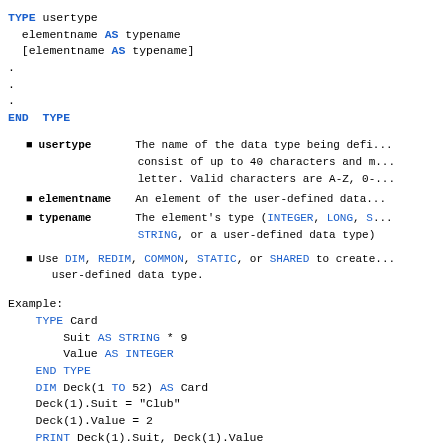usertype — The name of the data type being defined. Must consist of up to 40 characters and must start with a letter. Valid characters are A-Z, 0-...
elementname — An element of the user-defined data type.
typename — The element's type (INTEGER, LONG, S..., STRING, or a user-defined data type)
Use DIM, REDIM, COMMON, STATIC, or SHARED to create a variable of a user-defined data type.